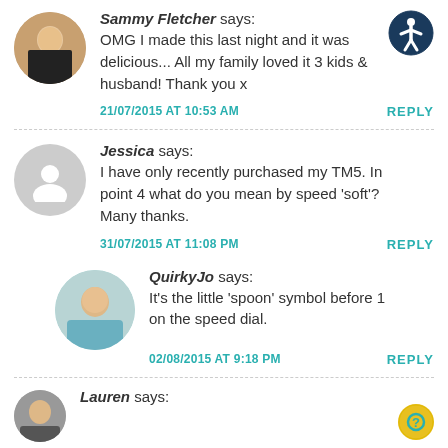Sammy Fletcher says: OMG I made this last night and it was delicious... All my family loved it 3 kids & husband! Thank you x
21/07/2015 AT 10:53 AM   REPLY
Jessica says: I have only recently purchased my TM5. In point 4 what do you mean by speed 'soft'? Many thanks.
31/07/2015 AT 11:08 PM   REPLY
QuirkyJo says: It's the little 'spoon' symbol before 1 on the speed dial.
02/08/2015 AT 9:18 PM   REPLY
Lauren says: